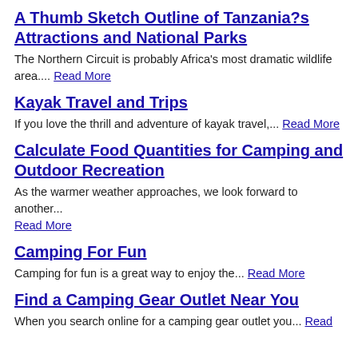A Thumb Sketch Outline of Tanzania?s Attractions and National Parks
The Northern Circuit is probably Africa's most dramatic wildlife area.... Read More
Kayak Travel and Trips
If you love the thrill and adventure of kayak travel,... Read More
Calculate Food Quantities for Camping and Outdoor Recreation
As the warmer weather approaches, we look forward to another... Read More
Camping For Fun
Camping for fun is a great way to enjoy the... Read More
Find a Camping Gear Outlet Near You
When you search online for a camping gear outlet you... Read